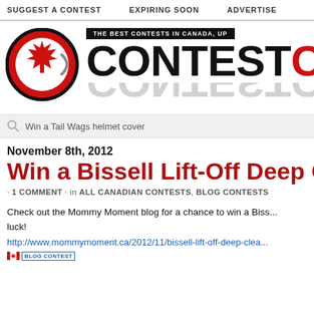SUGGEST A CONTEST   EXPIRING SOON   ADVERTISE
[Figure (logo): ContestCA logo with red maple leaf circle and bold CONTESTCA text, tagline: THE BEST CONTESTS IN CANADA, UP...]
Win a Tail Wags helmet cover
November 8th, 2012
Win a Bissell Lift-Off Deep C...
· 1 COMMENT · in ALL CANADIAN CONTESTS, BLOG CONTESTS
Check out the Mommy Moment blog for a chance to win a Biss... luck!
http://www.mommymoment.ca/2012/11/bissell-lift-off-deep-clea...
[Figure (logo): Small Canadian flag icon and BLOG CONTEST badge]